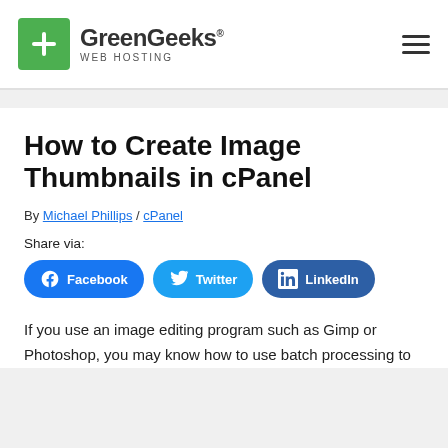GreenGeeks WEB HOSTING
How to Create Image Thumbnails in cPanel
By Michael Phillips / cPanel
Share via:
Facebook  Twitter  LinkedIn
If you use an image editing program such as Gimp or Photoshop, you may know how to use batch processing to